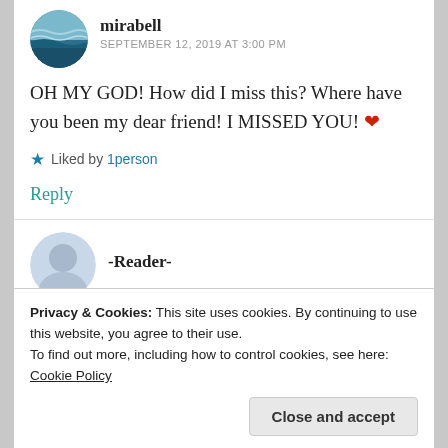mirabell
SEPTEMBER 12, 2019 AT 3:00 PM
OH MY GOD! How did I miss this? Where have you been my dear friend! I MISSED YOU! ❤
★ Liked by 1person
Reply
-Reader-
Privacy & Cookies: This site uses cookies. By continuing to use this website, you agree to their use.
To find out more, including how to control cookies, see here: Cookie Policy
Close and accept